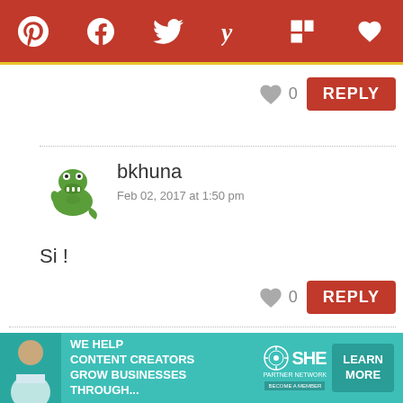[Figure (screenshot): Social sharing toolbar with Pinterest, Facebook, Twitter, Yummly, Flipboard, and heart/favorite icons on a dark red background]
0
[Figure (screenshot): REPLY button in red]
[Figure (illustration): Green alligator/crocodile avatar for user bkhuna]
bkhuna
Feb 02, 2017 at 1:50 pm
Si !
0
[Figure (screenshot): REPLY button in red]
[Figure (screenshot): Advertisement banner: WE HELP CONTENT CREATORS GROW BUSINESSES THROUGH... SHE PARTNER NETWORK BECOME A MEMBER, LEARN MORE button]